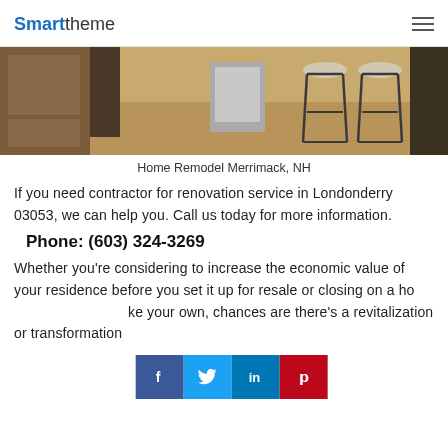Smarttheme
[Figure (photo): Kitchen interior with bar stools and herringbone tile floor, dark wood cabinets, and a stainless steel appliance visible in the background.]
Home Remodel Merrimack, NH
If you need contractor for renovation service in Londonderry 03053, we can help you. Call us today for more information.
Phone: (603) 324-3269
Whether you’re considering to increase the economic value of your residence before you set it up for resale or closing on a home you’d like your own, chances are there’s a revitalization or transformation